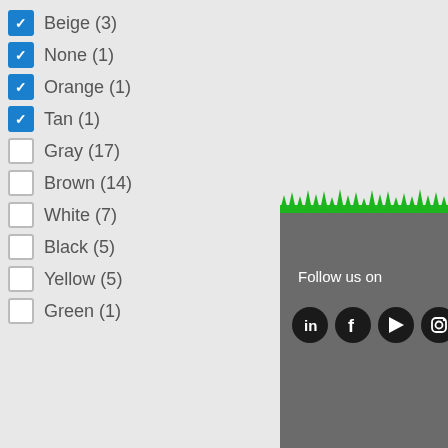Beige (3)
None (1)
Orange (1)
Tan (1)
Gray (17)
Brown (14)
White (7)
Black (5)
Yellow (5)
Green (1)
[Figure (illustration): Website footer section with grass graphic and social media icons (LinkedIn, Facebook, YouTube, Instagram, and a partially visible icon). Text reads 'Follow us on'.]